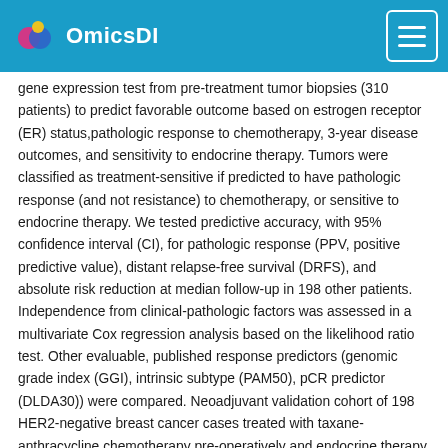OmicsDI
gene expression test from pre-treatment tumor biopsies (310 patients) to predict favorable outcome based on estrogen receptor (ER) status,pathologic response to chemotherapy, 3-year disease outcomes, and sensitivity to endocrine therapy. Tumors were classified as treatment-sensitive if predicted to have pathologic response (and not resistance) to chemotherapy, or sensitive to endocrine therapy. We tested predictive accuracy, with 95% confidence interval (CI), for pathologic response (PPV, positive predictive value), distant relapse-free survival (DRFS), and absolute risk reduction at median follow-up in 198 other patients. Independence from clinical-pathologic factors was assessed in a multivariate Cox regression analysis based on the likelihood ratio test. Other evaluable, published response predictors (genomic grade index (GGI), intrinsic subtype (PAM50), pCR predictor (DLDA30)) were compared. Neoadjuvant validation cohort of 198 HER2-negative breast cancer cases treated with taxane-anthracycline chemotherapy pre-operatively and endocrine therapy if ER-positive. Response was assessed at the end of